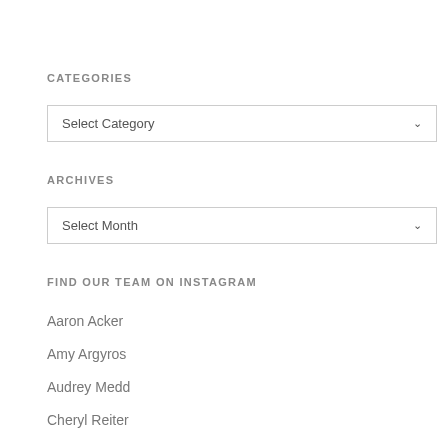CATEGORIES
[Figure (screenshot): Dropdown selector labeled 'Select Category' with a chevron arrow on the right]
ARCHIVES
[Figure (screenshot): Dropdown selector labeled 'Select Month' with a chevron arrow on the right]
FIND OUR TEAM ON INSTAGRAM
Aaron Acker
Amy Argyros
Audrey Medd
Cheryl Reiter